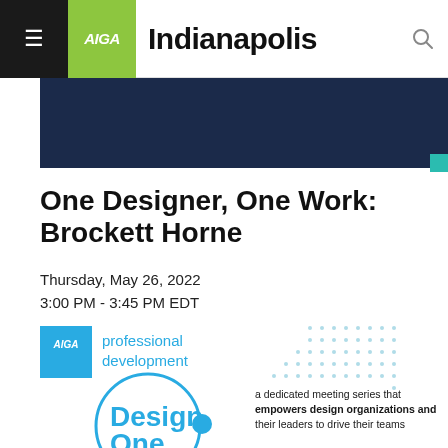AIGA Indianapolis
[Figure (illustration): Dark navy blue banner image area, partial view of event header graphic]
One Designer, One Work: Brockett Horne
Thursday, May 26, 2022
3:00 PM - 3:45 PM EDT
[Figure (illustration): AIGA professional development promo graphic with Design One circle logo, teal dots grid background, and text: 'a dedicated meeting series that empowers design organizations and their leaders to drive their teams']